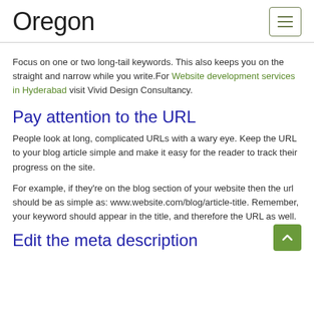Oregon
Focus on one or two long-tail keywords. This also keeps you on the straight and narrow while you write.For Website development services in Hyderabad visit Vivid Design Consultancy.
Pay attention to the URL
People look at long, complicated URLs with a wary eye. Keep the URL to your blog article simple and make it easy for the reader to track their progress on the site.
For example, if they're on the blog section of your website then the url should be as simple as: www.website.com/blog/article-title. Remember, your keyword should appear in the title, and therefore the URL as well.
Edit the meta description